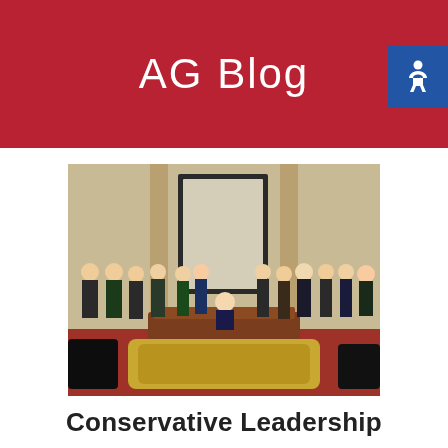AG Blog
[Figure (photo): Group photo of approximately 20 people in formal attire gathered around a large wooden desk in an ornate government office room. A person is seated at the desk signing a document while others stand behind.]
Conservative Leadership